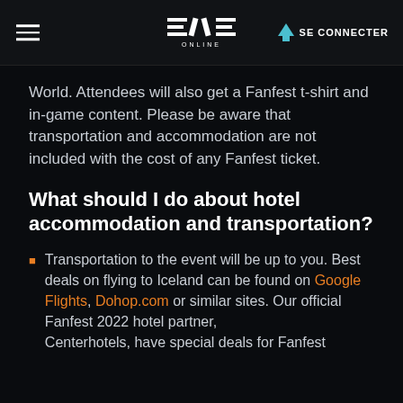EVE ONLINE — SE CONNECTER
World. Attendees will also get a Fanfest t-shirt and in-game content. Please be aware that transportation and accommodation are not included with the cost of any Fanfest ticket.
What should I do about hotel accommodation and transportation?
Transportation to the event will be up to you. Best deals on flying to Iceland can be found on Google Flights, Dohop.com or similar sites. Our official Fanfest 2022 hotel partner, Centerhotels, have special deals for Fanfest